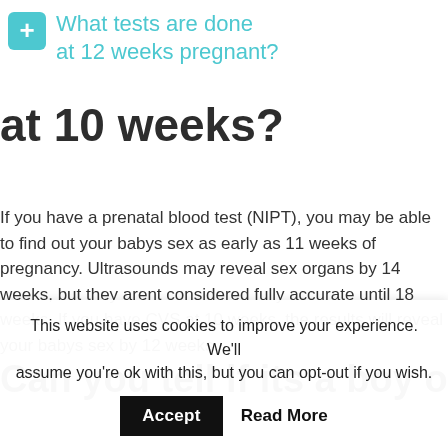What tests are done at 12 weeks pregnant?
at 10 weeks?
If you have a prenatal blood test (NIPT), you may be able to find out your babys sex as early as 11 weeks of pregnancy. Ultrasounds may reveal sex organs by 14 weeks, but they arent considered fully accurate until 18 weeks. If you have CVS at 10 weeks, the results will reveal your babys sex by 12 weeks.
Can you tell if its a boy or girl
This website uses cookies to improve your experience. We'll assume you're ok with this, but you can opt-out if you wish.